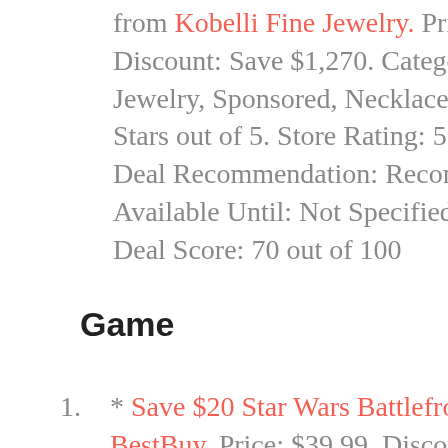from Kobelli Fine Jewelry. Price: $1,770. Discount: Save $1,270. Categories: Fine Jewelry, Sponsored, Necklaces. Deal Rating: 3 Stars out of 5. Store Rating: 5 Stars out of 5. Deal Recommendation: Recommended. Available Until: Not Specified. Thoughts: None. Deal Score: 70 out of 100
Game
* Save $20 Star Wars Battlefront II – Windows from BestBuy. Price: $39.99. Discount: Save $20. Categories: Video Games, Sponsored. Deal Rating: 5 Stars out of 5. Store Rating: 5 Stars out of 5. Deal Recommendation: Recommended. Available Until: Not Specified. Thoughts: None. Deal Score: 70 out of 100
* Save $20 Disgaea 5 Complete